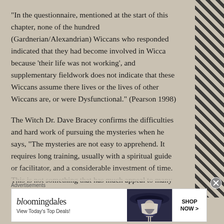“In the questionnaire, mentioned at the start of this chapter, none of the hundred (Gardnerian/Alexandrian) Wiccans who responded indicated that they had become involved in Wicca because ‘their life was not working’, and supplementary fieldwork does not indicate that these Wiccans assume there lives or the lives of other Wiccans are, or were Dysfunctional.” (Pearson 1998)
The Witch Dr. Dave Bracey confirms the difficulties and hard work of pursuing the mysteries when he says, “The mysteries are not easy to apprehend. It requires long training, usually with a spiritual guide or facilitator, and a considerable investment of time. This is not something that has much appeal to many in our present day society, conditioned as it is with fast cars, fast food, fast solutions
Advertisements
[Figure (other): Bloomingdale's advertisement banner with text 'bloomingdales', 'View Today's Top Deals!', a woman wearing a large hat, and a 'SHOP NOW >' button]